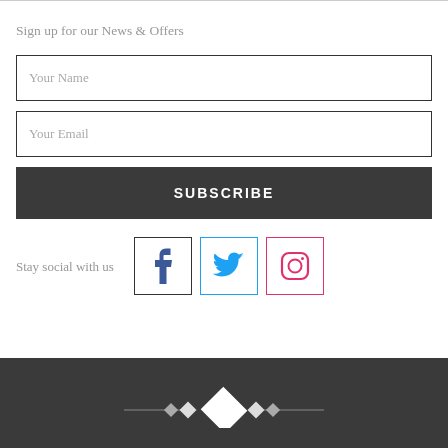Sign up for our News & Offers
Your Name
Your Email
SUBSCRIBE
Stay social with us
[Figure (infographic): Dark footer with decorative diamond/chevron divider ornament in white on dark grey background]